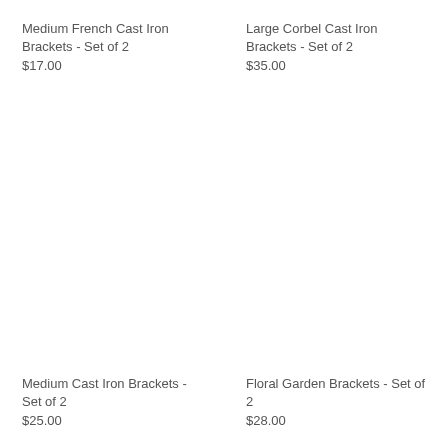Medium French Cast Iron Brackets - Set of 2
$17.00
Large Corbel Cast Iron Brackets - Set of 2
$35.00
Medium Cast Iron Brackets - Set of 2
$25.00
Floral Garden Brackets - Set of 2
$28.00